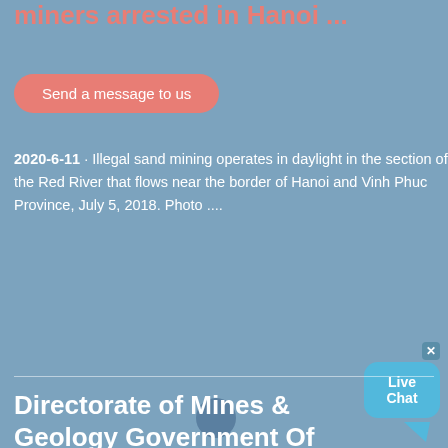miners arrested in Hanoi ...
Send a message to us
2020-6-11 · Illegal sand mining operates in daylight in the section of the Red River that flows near the border of Hanoi and Vinh Phuc Province, July 5, 2018. Photo ....
Directorate of Mines & Geology Government Of Goa,India
Send a message to us
The Goa (Prevention of Illegal Mining, Storage and Transportation of Minerals) (First Amendment) Rules, 2014. DOWNLOAD. The Goa,Daman and Diu Minor Mineral Concession Rules 1985. DOWNLOAD. Mineral